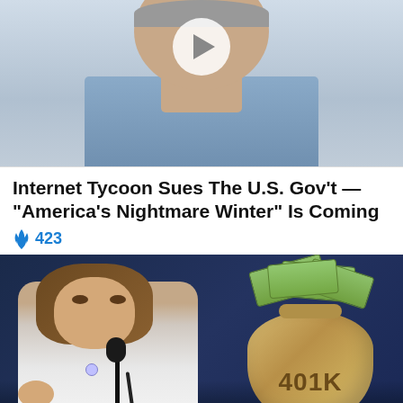[Figure (photo): Cropped photo of a man in a light blue shirt, partially visible from shoulders up, with a circular play button overlay]
Internet Tycoon Sues The U.S. Gov't — "America's Nightmare Winter" Is Coming
🔥 423
[Figure (photo): Photo of a woman speaking at a podium with microphones, with an overlaid graphic of a burlap money bag labeled '401K' filled with cash]
Should Congress collect money from your